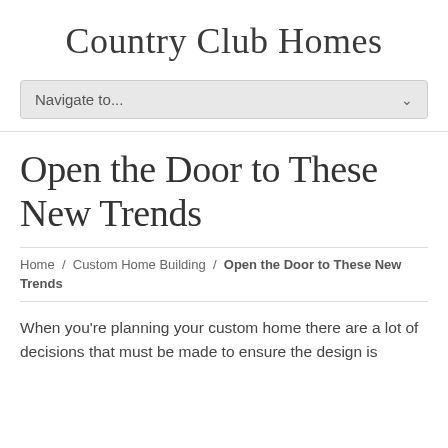Country Club Homes
Navigate to...
Open the Door to These New Trends
Home / Custom Home Building / Open the Door to These New Trends
When you're planning your custom home there are a lot of decisions that must be made to ensure the design is